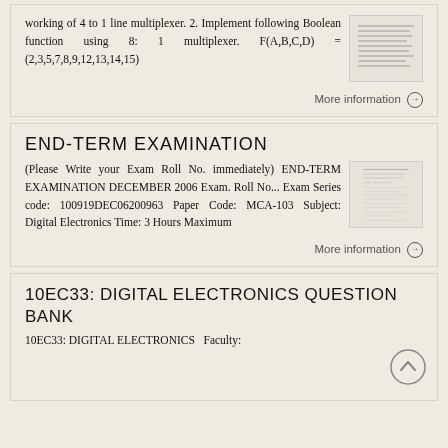working of 4 to 1 line multiplexer. 2. Implement following Boolean function using 8: 1 multiplexer. F(A,B,C,D) = (2,3,5,7,8,9,12,13,14,15)
More information →
END-TERM EXAMINATION
(Please Write your Exam Roll No. immediately) END-TERM EXAMINATION DECEMBER 2006 Exam. Roll No... Exam Series code: 100919DEC06200963 Paper Code: MCA-103 Subject: Digital Electronics Time: 3 Hours Maximum
More information →
10EC33: DIGITAL ELECTRONICS QUESTION BANK
10EC33: DIGITAL ELECTRONICS Faculty: